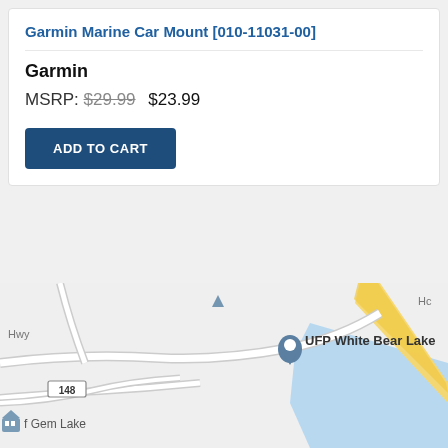Garmin Marine Car Mount [010-11031-00]
Garmin
MSRP: $29.99  $23.99
ADD TO CART
[Figure (map): Google Maps view showing UFP White Bear Lake location marker, with road 148, Gem Lake area, and a blue water body visible in the lower-right area.]